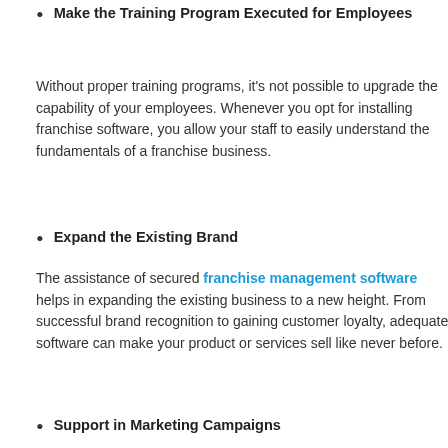Make the Training Program Executed for Employees
Without proper training programs, it’s not possible to upgrade the capability of your employees. Whenever you opt for installing franchise software, you allow your staff to easily understand the fundamentals of a franchise business.
Expand the Existing Brand
The assistance of secured franchise management software helps in expanding the existing business to a new height. From successful brand recognition to gaining customer loyalty, adequate software can make your product or services sell like never before.
Support in Marketing Campaigns